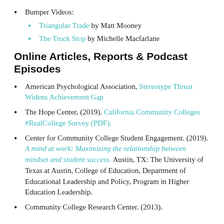Bumper Videos:
Triangular Trade by Matt Mooney
The Truck Stop by Michelle Macfarlane
Online Articles, Reports & Podcast Episodes
American Psychological Association, Stereotype Threat Widens Achievement Gap
The Hope Center, (2019). California Community Colleges #RealCollege Survey (PDF).
Center for Community College Student Engagement. (2019). A mind at work: Maximizing the relationship between mindset and student success. Austin, TX: The University of Texas at Austin, College of Education, Department of Educational Leadership and Policy, Program in Higher Education Leadership.
Community College Research Center. (2013).